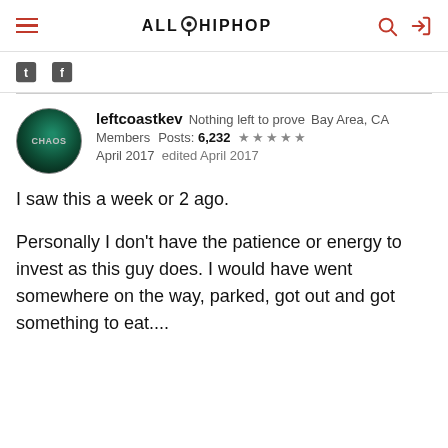ALLHIPHOP
leftcoastkev  Nothing left to prove  Bay Area, CA
Members  Posts: 6,232  ★★★★★
April 2017  edited April 2017
I saw this a week or 2 ago.
Personally I don't have the patience or energy to invest as this guy does. I would have went somewhere on the way, parked, got out and got something to eat....